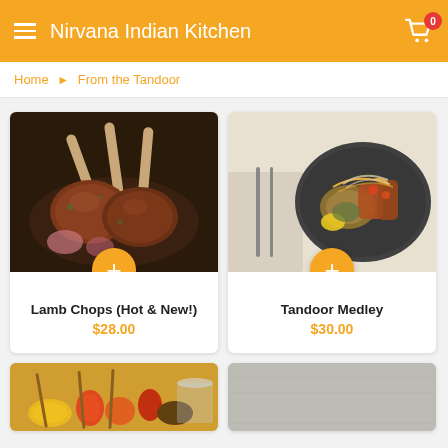Nirvana Indian Kitchen
Home > From the Tandoor
[Figure (photo): Grilled lamb chops on a dark skillet with herbs]
Lamb Chops (Hot & New!)
$28.00
[Figure (photo): Tandoor medley dish on a dark plate with vegetables and onions, served with cutlery on a linen napkin]
Tandoor Medley
$30.00
[Figure (photo): Grilled vegetable skewers with colorful peppers and onions]
[Figure (photo): Light gray/silver surface partial product image]